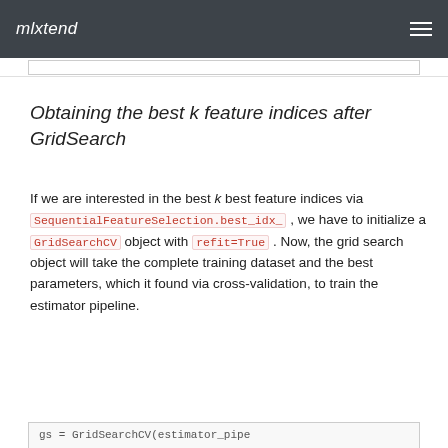mlxtend
Obtaining the best k feature indices after GridSearch
If we are interested in the best k best feature indices via SequentialFeatureSelection.best_idx_ , we have to initialize a GridSearchCV object with refit=True . Now, the grid search object will take the complete training dataset and the best parameters, which it found via cross-validation, to train the estimator pipeline.